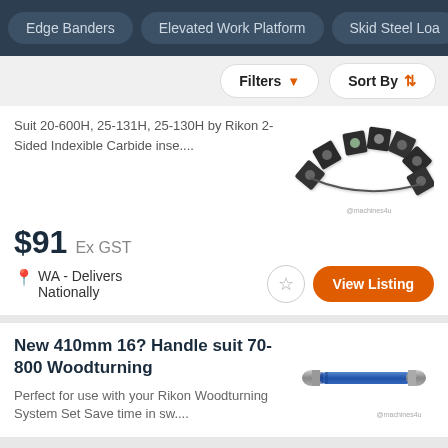Edge Banders | Elevated Work Platform | Skid Steel Loa
Filters | Sort By
Suit 20-600H, 25-131H, 25-130H by Rikon 2-Sided Indexible Carbide inse....
$91 Ex GST
WA - Delivers Nationally
New 410mm 16? Handle suit 70-800 Woodturning
Perfect for use with your Rikon Woodturning System Set Save time in sw....